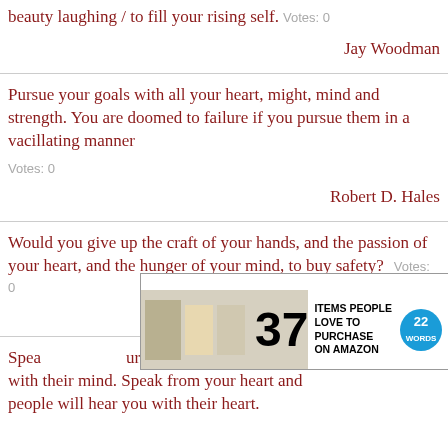beauty laughing / to fill your rising self.   Votes: 0
Jay Woodman
Pursue your goals with all your heart, might, mind and strength. You are doomed to failure if you pursue them in a vacillating manner
Votes: 0
Robert D. Hales
Would you give up the craft of your hands, and the passion of your heart, and the hunger of your mind, to buy safety?   Votes: 0
Guin
Speak ... ur you with their mind. Speak from your heart and people will hear you with their heart.